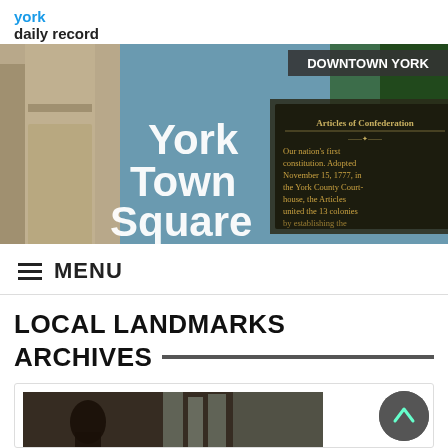york daily record
[Figure (photo): Banner image showing York Town Square with Articles of Confederation historical marker and 'Downtown York' label overlay]
≡ MENU
LOCAL LANDMARKS ARCHIVES
[Figure (photo): Partial view of a statue in an urban downtown setting with buildings in background]